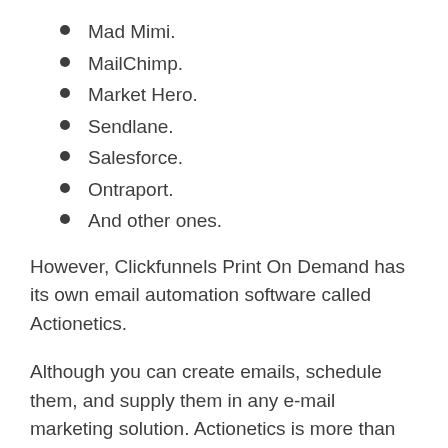Mad Mimi.
MailChimp.
Market Hero.
Sendlane.
Salesforce.
Ontraport.
And other ones.
However, Clickfunnels Print On Demand has its own email automation software called Actionetics.
Although you can create emails, schedule them, and supply them in any e-mail marketing solution. Actionetics is more than that.